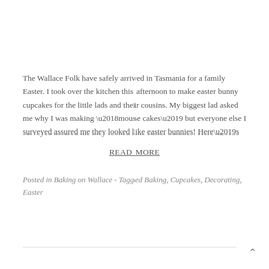The Wallace Folk have safely arrived in Tasmania for a family Easter. I took over the kitchen this afternoon to make easter bunny cupcakes for the little lads and their cousins. My biggest lad asked me why I was making ‘mouse cakes’ but everyone else I surveyed assured me they looked like easter bunnies! Here’s
READ MORE
Posted in Baking on Wallace - Tagged Baking, Cupcakes, Decorating, Easter